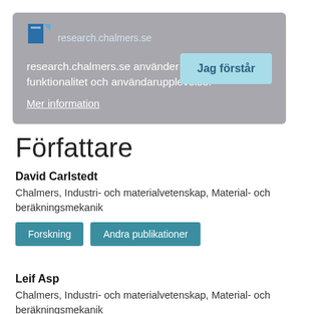[Figure (screenshot): Cookie consent overlay on research.chalmers.se with Chalmers logo, cookie notice text in Swedish, 'Mer information' link, and 'Jag förstår' button]
Författare
David Carlstedt
Chalmers, Industri- och materialvetenskap, Material- och beräkningsmekanik
Forskning
Andra publikationer
Leif Asp
Chalmers, Industri- och materialvetenskap, Material- och beräkningsmekanik
Forskning
Andra publikationer